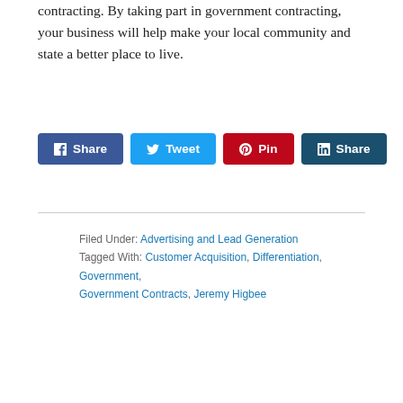contracting. By taking part in government contracting, your business will help make your local community and state a better place to live.
[Figure (other): Social sharing buttons: Facebook Share, Tweet, Pinterest Pin, LinkedIn Share]
Filed Under: Advertising and Lead Generation
Tagged With: Customer Acquisition, Differentiation, Government, Government Contracts, Jeremy Higbee